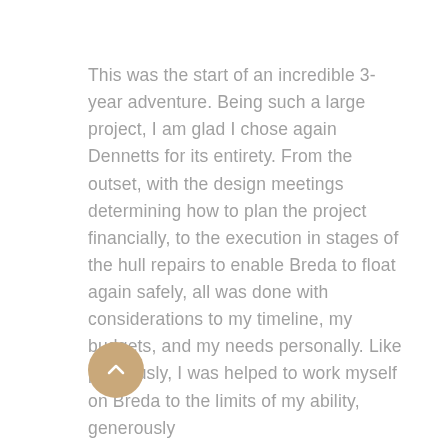This was the start of an incredible 3-year adventure. Being such a large project, I am glad I chose again Dennetts for its entirety. From the outset, with the design meetings determining how to plan the project financially, to the execution in stages of the hull repairs to enable Breda to float again safely, all was done with considerations to my timeline, my budgets, and my needs personally. Like previously, I was helped to work myself on Breda to the limits of my ability, generously...